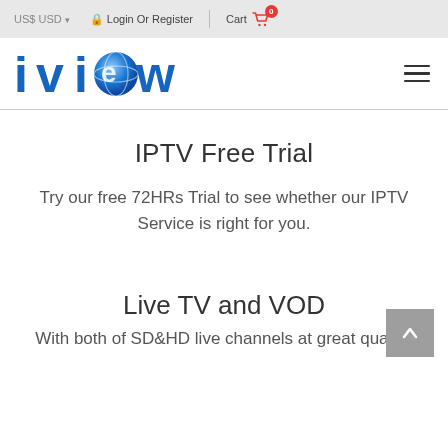US$ USD  Login Or Register  Cart 0
[Figure (logo): iview logo — stylized text 'iview' in blue with a globe/circle for the letter 'o']
IPTV Free Trial
Try our free 72HRs Trial to see whether our IPTV Service is right for you.
Live TV and VOD
With both of SD&HD live channels at great quality,